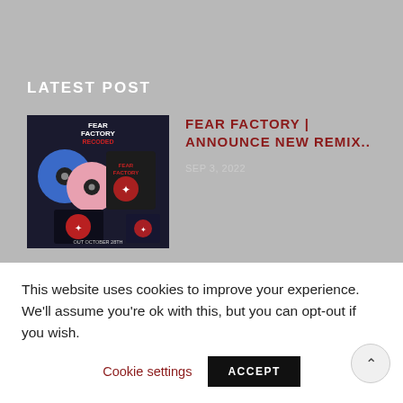LATEST POST
[Figure (photo): Fear Factory Recoded album artwork and merchandise including vinyl records and t-shirt, out October 28th]
FEAR FACTORY | ANNOUNCE NEW REMIX..
SEP 3, 2022
[Figure (photo): Gothminister logo on dark background]
GOTHMINISTER RELEASES NEW
This website uses cookies to improve your experience. We'll assume you're ok with this, but you can opt-out if you wish.
Cookie settings
ACCEPT